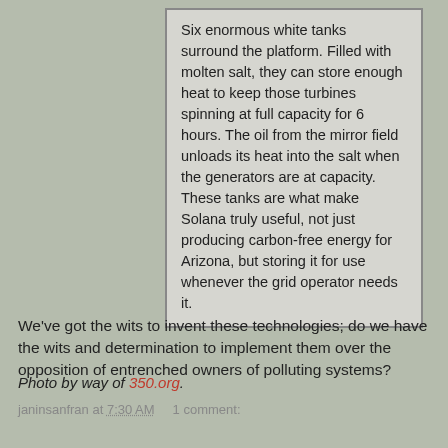Six enormous white tanks surround the platform. Filled with molten salt, they can store enough heat to keep those turbines spinning at full capacity for 6 hours. The oil from the mirror field unloads its heat into the salt when the generators are at capacity. These tanks are what make Solana truly useful, not just producing carbon-free energy for Arizona, but storing it for use whenever the grid operator needs it.
We've got the wits to invent these technologies; do we have the wits and determination to implement them over the opposition of entrenched owners of polluting systems?
Photo by way of 350.org.
janinsanfran at 7:30 AM    1 comment:
Share